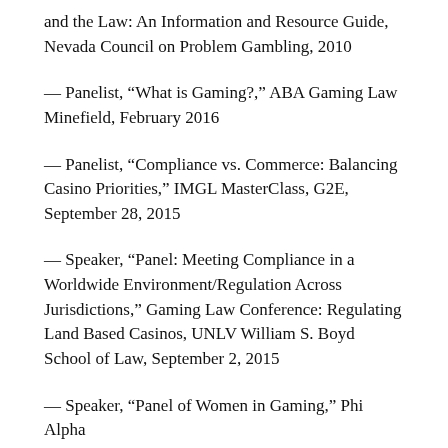and the Law: An Information and Resource Guide, Nevada Council on Problem Gambling, 2010
— Panelist, “What is Gaming?,” ABA Gaming Law Minefield, February 2016
— Panelist, “Compliance vs. Commerce: Balancing Casino Priorities,” IMGL MasterClass, G2E, September 28, 2015
— Speaker, “Panel: Meeting Compliance in a Worldwide Environment/Regulation Across Jurisdictions,” Gaming Law Conference: Regulating Land Based Casinos, UNLV William S. Boyd School of Law, September 2, 2015
— Speaker, “Panel of Women in Gaming,” Phi Alpha